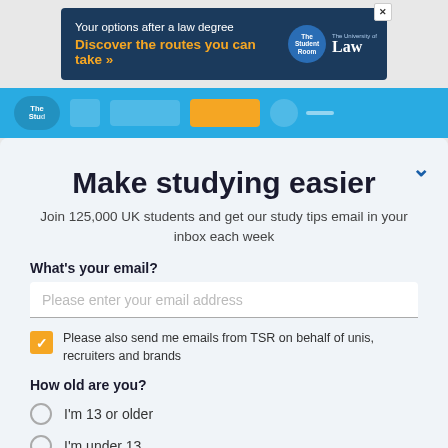[Figure (screenshot): Advertisement banner for The University of Law: 'Your options after a law degree – Discover the routes you can take »' with The Student Room and University of Law logos]
[Figure (screenshot): Navigation bar for The Student Room website with blue background and logo]
Make studying easier
Join 125,000 UK students and get our study tips email in your inbox each week
What's your email?
Please enter your email address
Please also send me emails from TSR on behalf of unis, recruiters and brands
How old are you?
I'm 13 or older
I'm under 13